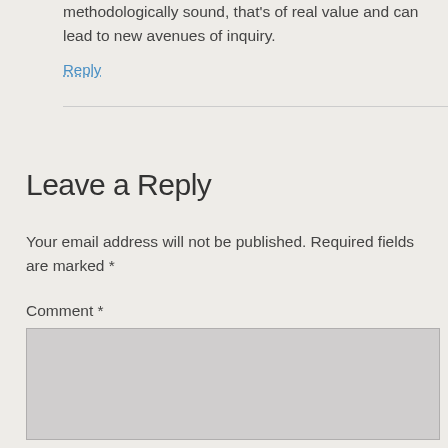methodologically sound, that's of real value and can lead to new avenues of inquiry.
Reply
Leave a Reply
Your email address will not be published. Required fields are marked *
Comment *